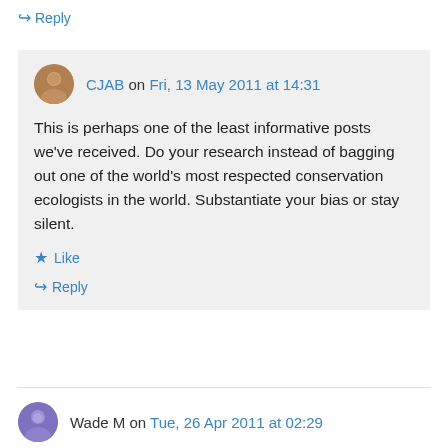↪ Reply
CJAB on Fri, 13 May 2011 at 14:31
This is perhaps one of the least informative posts we've received. Do your research instead of bagging out one of the world's most respected conservation ecologists in the world. Substantiate your bias or stay silent.
★ Like
↪ Reply
Wade M on Tue, 26 Apr 2011 at 02:29